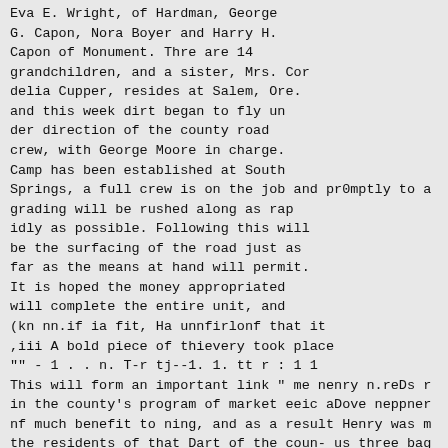Eva E. Wright, of Hardman, George G. Capon, Nora Boyer and Harry H. Capon of Monument. Thre are 14 grandchildren, and a sister, Mrs. Cor delia Cupper, resides at Salem, Ore. and this week dirt began to fly un der direction of the county road crew, with George Moore in charge. Camp has been established at South Springs, a full crew is on the job and pr0mptly to a grading will be rushed along as rap idly as possible. Following this will be the surfacing of the road just as far as the means at hand will permit. It is hoped the money appropriated will complete the entire unit, and (kn nn.if ia fit, Ha unnfirlonf that it ,iii A bold piece of thievery took place "" - 1 . . n. T-r tj--1. 1. tt r : 1 1 This will form an important link " me nenry n.reDs r in the county's program of market eeic aDove neppner nf much benefit to ning, and as a result Henry was m the residents of that Dart of the coun- us three bag ... tum v, k... niY, nhnncroq in all to about 1000 p